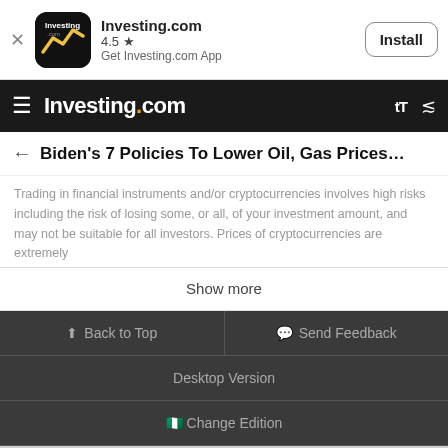[Figure (screenshot): App install banner for Investing.com with logo, 4.5 star rating, and Install button]
Investing.com navigation bar with hamburger menu, logo, and icons
Biden's 7 Policies To Lower Oil, Gas Prices: Wh…
Trading in financial instruments and/or cryptocurrencies involves high risks including the risk of losing some, or all, of your investment amount, and may not be suitable for all investors. Prices of cryptocurrencies are extremely
Show more
Back to Top | Send Feedback
Desktop Version
Change Edition
[Figure (screenshot): Advertisement banner for Crumbl Cookies - Crumbl Cookies Ashburn]